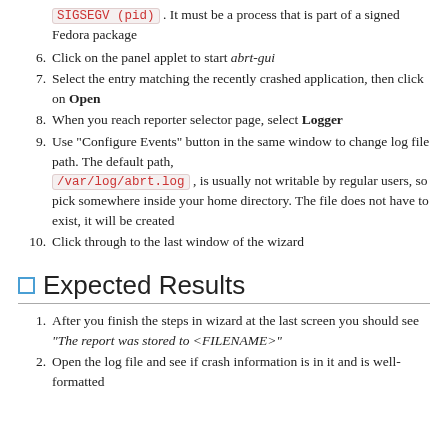SIGSEGV (pid) . It must be a process that is part of a signed Fedora package
6. Click on the panel applet to start abrt-gui
7. Select the entry matching the recently crashed application, then click on Open
8. When you reach reporter selector page, select Logger
9. Use "Configure Events" button in the same window to change log file path. The default path, /var/log/abrt.log , is usually not writable by regular users, so pick somewhere inside your home directory. The file does not have to exist, it will be created
10. Click through to the last window of the wizard
Expected Results
1. After you finish the steps in wizard at the last screen you should see "The report was stored to <FILENAME>"
2. Open the log file and see if crash information is in it and is well-formatted